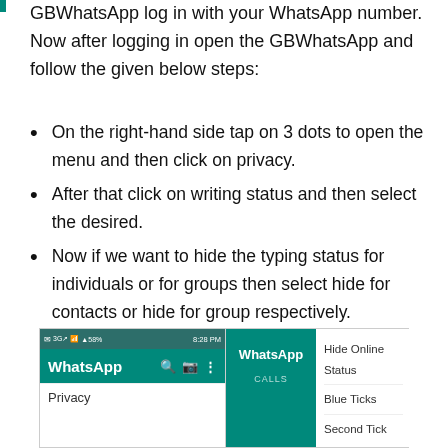GBWhatsApp log in with your WhatsApp number. Now after logging in open the GBWhatsApp and follow the given below steps:
On the right-hand side tap on 3 dots to open the menu and then click on privacy.
After that click on writing status and then select the desired.
Now if we want to hide the typing status for individuals or for groups then select hide for contacts or hide for group respectively.
[Figure (screenshot): Screenshot of GBWhatsApp app showing the main WhatsApp screen with Privacy option visible in a dropdown menu, alongside a menu showing Hide Online Status, Blue Ticks, and Second Tick options.]